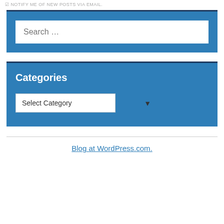NOTIFY ME OF NEW POSTS VIA EMAIL.
[Figure (screenshot): Search widget with blue background and white search input box containing placeholder text 'Search ...']
Categories
[Figure (screenshot): Categories widget with blue background containing a 'Select Category' dropdown]
Blog at WordPress.com.